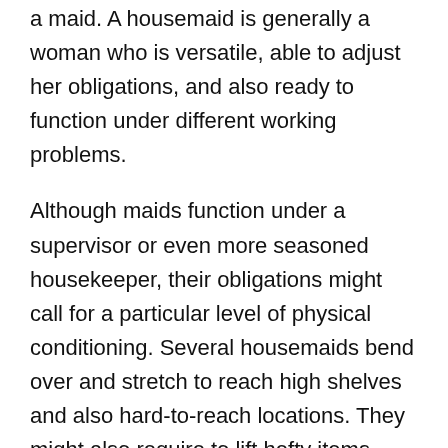a maid. A housemaid is generally a woman who is versatile, able to adjust her obligations, and also ready to function under different working problems.
Although maids function under a supervisor or even more seasoned housekeeper, their obligations might call for a particular level of physical conditioning. Several housemaids bend over and stretch to reach high shelves and also hard-to-reach locations. They might also require to lift hefty items. Some companies favor to work with detail-oriented, detailed housekeepers, and also expect their personnel to be trusted. They may be in charge of maintaining the sanitation of your office or home.
A caretaker is an excellent option if you want a